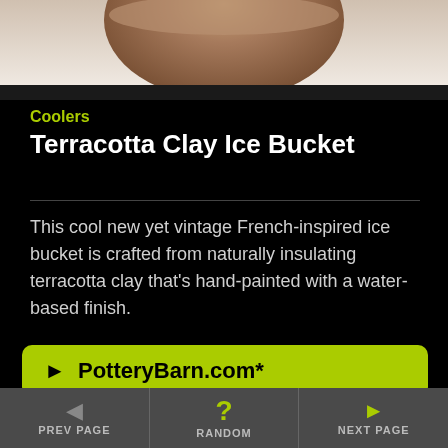[Figure (photo): Top portion of a terracotta clay pot/vessel, close-up photo against light background]
Coolers
Terracotta Clay Ice Bucket
This cool new yet vintage French-inspired ice bucket is crafted from naturally insulating terracotta clay that's hand-painted with a water-based finish.
► PotteryBarn.com*
[Figure (photo): Bottom portion showing green plants, ferns and white flower petals on grass]
◄ PREV PAGE   ? RANDOM   ► NEXT PAGE